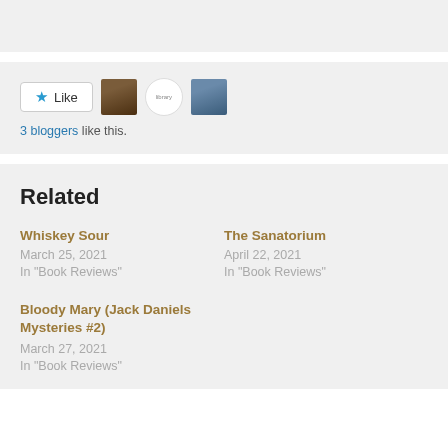[Figure (other): Like button with star icon and 3 blogger avatars (person photo, library logo, truck photo)]
3 bloggers like this.
Related
Whiskey Sour
March 25, 2021
In "Book Reviews"
The Sanatorium
April 22, 2021
In "Book Reviews"
Bloody Mary (Jack Daniels Mysteries #2)
March 27, 2021
In "Book Reviews"